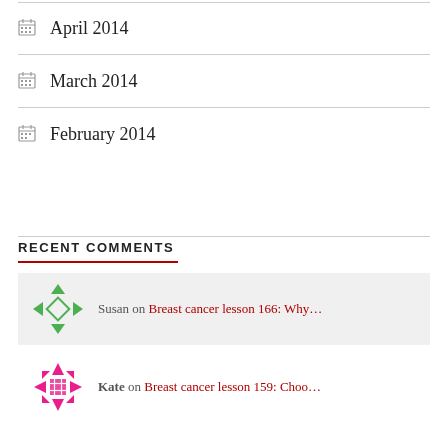April 2014
March 2014
February 2014
RECENT COMMENTS
Susan on Breast cancer lesson 166: Why…
Kate on Breast cancer lesson 159: Choo…
Annieapple on Breast cancer lesson 166: Why…